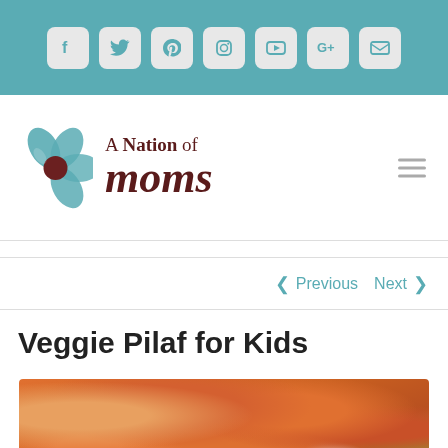Social media icons: Facebook, Twitter, Pinterest, Instagram, YouTube, Google+, Email
[Figure (logo): A Nation of Moms logo with teal flower and brown serif text]
Previous  Next
Veggie Pilaf for Kids
[Figure (photo): Close-up photo of veggie pilaf with orange carrots, rice, green peas in a bowl]